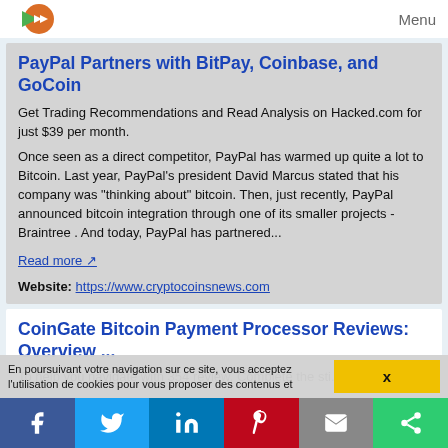Menu
PayPal Partners with BitPay, Coinbase, and GoCoin
Get Trading Recommendations and Read Analysis on Hacked.com for just $39 per month.
Once seen as a direct competitor, PayPal has warmed up quite a lot to Bitcoin. Last year, PayPal's president David Marcus stated that his company was "thinking about" bitcoin. Then, just recently, PayPal announced bitcoin integration through one of its smaller projects - Braintree . And today, PayPal has partnered...
Read more
Website: https://www.cryptocoinsnews.com
CoinGate Bitcoin Payment Processor Reviews: Overview ...
En poursuivant votre navigation sur ce site, vous acceptez l'utilisation de cookies pour vous proposer des contenus et
X